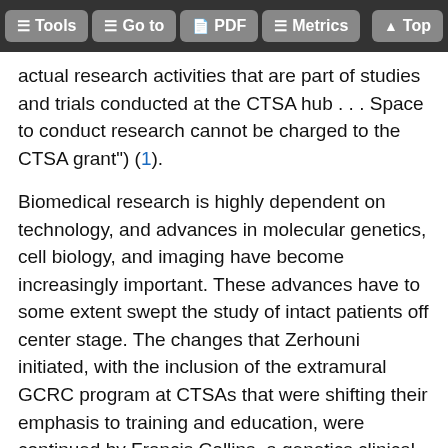Tools  Go to  PDF  Metrics  Top
actual research activities that are part of studies and trials conducted at the CTSA hub . . . Space to conduct research cannot be charged to the CTSA grant") (1).
Biomedical research is highly dependent on technology, and advances in molecular genetics, cell biology, and imaging have become increasingly important. These advances have to some extent swept the study of intact patients off center stage. The changes that Zerhouni initiated, with the inclusion of the extramural GCRC program at CTSAs that were shifting their emphasis to training and education, were continued by Francis Collins, a genetics clinical investigator who became the sixteenth Director of the NIH in 2008. To deal with clinical research and the rights of the patients...